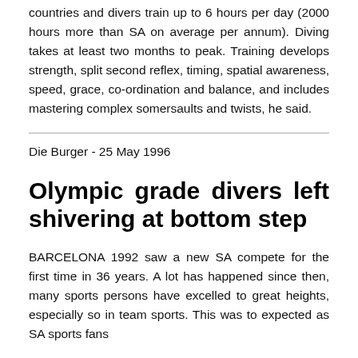countries and divers train up to 6 hours per day (2000 hours more than SA on average per annum). Diving takes at least two months to peak. Training develops strength, split second reflex, timing, spatial awareness, speed, grace, co-ordination and balance, and includes mastering complex somersaults and twists, he said.
Die Burger - 25 May 1996
Olympic grade divers left shivering at bottom step
BARCELONA 1992 saw a new SA compete for the first time in 36 years. A lot has happened since then, many sports persons have excelled to great heights, especially so in team sports. This was to expected as SA sports fans